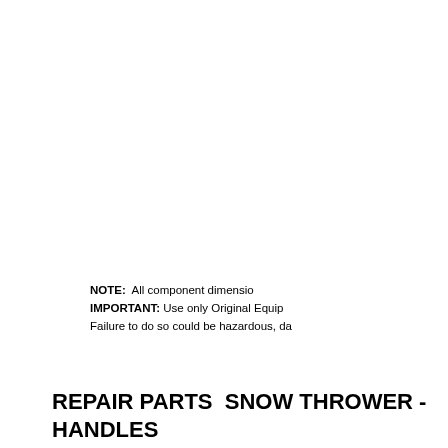NOTE: All component dimensio... IMPORTANT: Use only Original Equip... Failure to do so could be hazardous, da...
REPAIR PARTS  SNOW THROWER - HANDLES